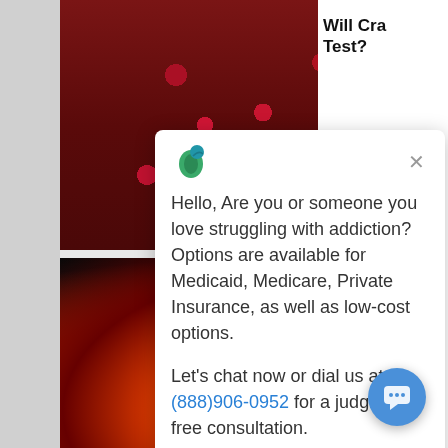[Figure (photo): Close-up photo of red cranberries]
[Figure (photo): Photo of fire and flames with dark smoke]
Hello, Are you or someone you love struggling with addiction? Options are available for Medicaid, Medicare, Private Insurance, as well as low-cost options.

Let's chat now or dial us at (888)906-0952 for a judgment-free consultation.
Will Cra... Test?
[Figure (screenshot): Chat popup widget with addiction help information and phone number (888)906-0952]